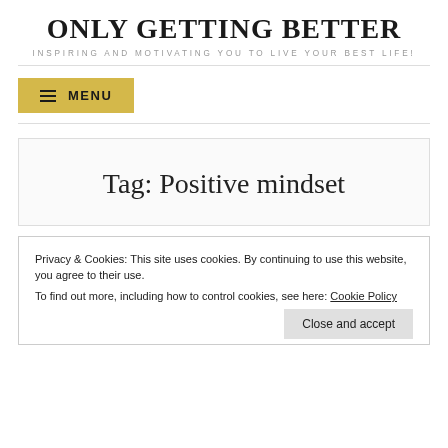ONLY GETTING BETTER
INSPIRING AND MOTIVATING YOU TO LIVE YOUR BEST LIFE!
≡ MENU
Tag: Positive mindset
Privacy & Cookies: This site uses cookies. By continuing to use this website, you agree to their use.
To find out more, including how to control cookies, see here: Cookie Policy
Close and accept